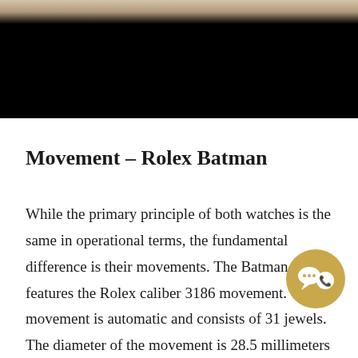[Figure (photo): Partial photo of a watch with dark/black background visible at the bottom]
Movement – Rolex Batman
While the primary principle of both watches is the same in operational terms, the fundamental difference is their movements. The Batman watch features the Rolex caliber 3186 movement. The movement is automatic and consists of 31 jewels. The diameter of the movement is 28.5 millimeters and it works with a frequency of 28,800 vph. The movement features a date function and has hands for hours, minutes and seconds. The movement also has an additional hand